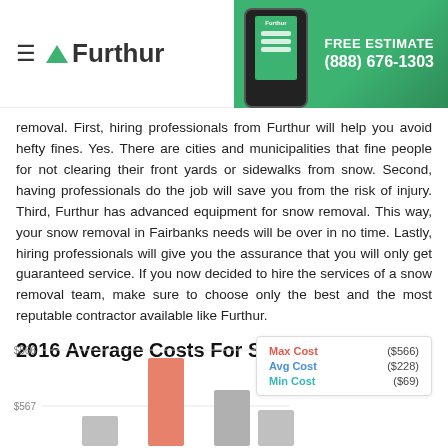Furthur — FREE ESTIMATE (888) 676-1303
removal. First, hiring professionals from Furthur will help you avoid hefty fines. Yes. There are cities and municipalities that fine people for not clearing their front yards or sidewalks from snow. Second, having professionals do the job will save you from the risk of injury. Third, Furthur has advanced equipment for snow removal. This way, your snow removal in Fairbanks needs will be over in no time. Lastly, hiring professionals will give you the assurance that you will only get guaranteed service. If you now decided to hire the services of a snow removal team, make sure to choose only the best and the most reputable contractor available like Furthur.
2016 Average Costs For Snow Removal
[Figure (bar-chart): 2016 Average Costs For Snow Removal]